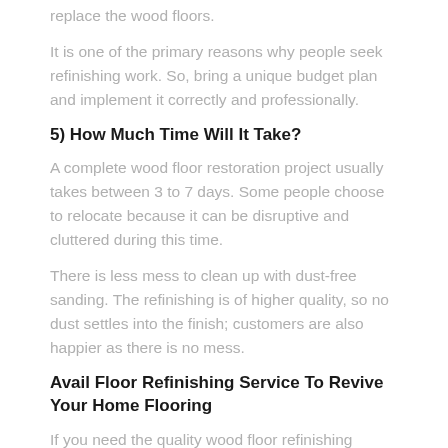replace the wood floors.
It is one of the primary reasons why people seek refinishing work. So, bring a unique budget plan and implement it correctly and professionally.
5) How Much Time Will It Take?
A complete wood floor restoration project usually takes between 3 to 7 days. Some people choose to relocate because it can be disruptive and cluttered during this time.
There is less mess to clean up with dust-free sanding. The refinishing is of higher quality, so no dust settles into the finish; customers are also happier as there is no mess.
Avail Floor Refinishing Service To Revive Your Home Flooring
If you need the quality wood floor refinishing service in Lido Beach, NY, Bob McGowan Wood